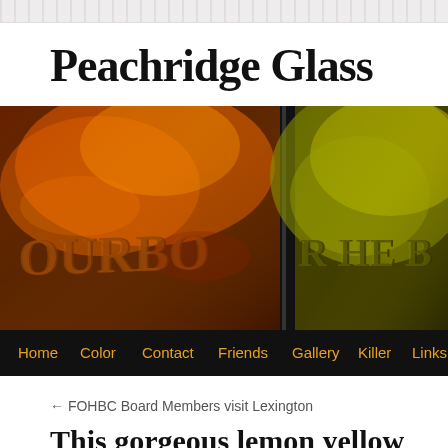Peachridge Glass
[Figure (photo): Close-up photo of two antique glass bottles, one amber/orange and one yellow-green, with embossed 'BOURBON' text on them. Below the photo is a black navigation bar with menu items: Home, Color, Contact, Friends, Gallery, Killer, Links, Pe...]
← FOHBC Board Members visit Lexington
This gorgeous lemon yellow Cloude Ca